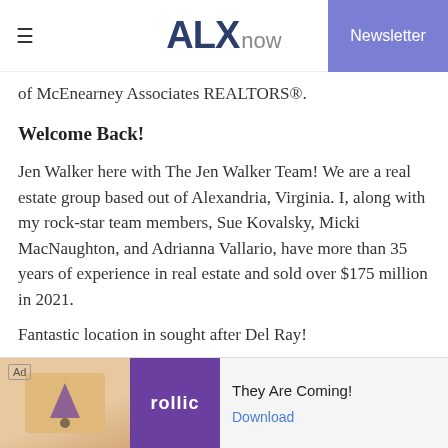ALXnow | Newsletter
of McEnearney Associates REALTORS®.
Welcome Back!
Jen Walker here with The Jen Walker Team! We are a real estate group based out of Alexandria, Virginia. I, along with my rock-star team members, Sue Kovalsky, Micki MacNaughton, and Adrianna Vallario, have more than 35 years of experience in real estate and sold over $175 million in 2021.
Fantastic location in sought after Del Ray!
Two bedroom, 1.5 bath duplex with bright southern exposure. Granite counters in the kitchen, stainless steel appliances, hardwood floors on main and upper levels. ... place. Beauti...
[Figure (other): Advertisement banner for Rollic game app with text 'They Are Coming!' and Download link]